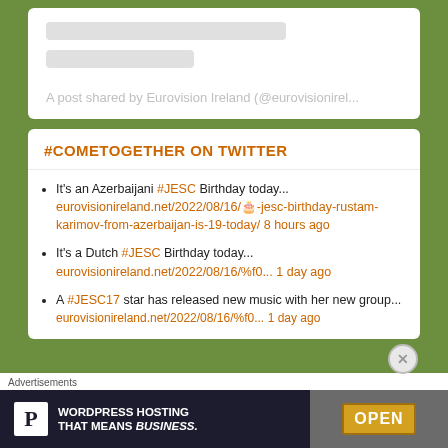[Figure (screenshot): Instagram embed placeholder with two gray loading bars and caption text 'A post shared by Eurovision Ireland (@eurovisionirel...']
A post shared by Eurovision Ireland (@eurovisionirel...
#COMETOGETHER ON TWITTER
It's an Azerbaijani #JESC Birthday today... eurovisionireland.net/2022/08/16/🎂-jesc-birthday-rustam-karimov-from-azerbaijan-is-19-today/ 8 hours ago
It's a Dutch #JESC Birthday today... eurovisionireland.net/2022/08/16/%f0... 1 day ago
A #JESC17 star has released new music with her new group... eurovisionireland.net/2022/08/16/%f0... 1 day ago
Advertisements
[Figure (screenshot): Advertisement banner for WordPress Hosting with P logo and 'OPEN' sign photo]